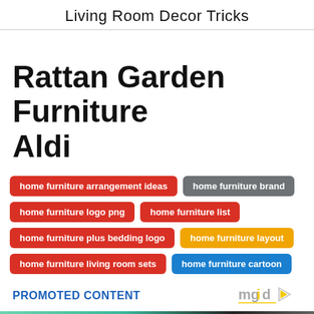Living Room Decor Tricks
Rattan Garden Furniture Aldi
home furniture arrangement ideas
home furniture brand
home furniture logo png
home furniture list
home furniture plus bedding logo
home furniture layout
home furniture living room sets
home furniture cartoon
PROMOTED CONTENT
[Figure (logo): mgid logo with play button icon]
[Figure (photo): Promotional image with CLOSE button overlay]